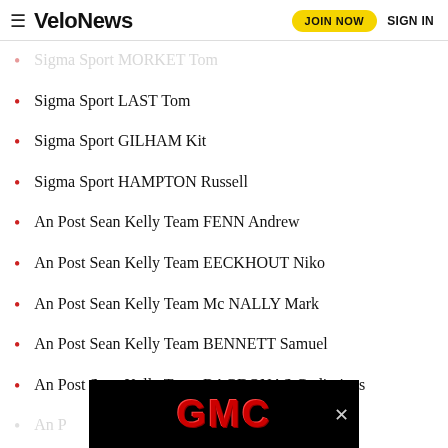VeloNews | JOIN NOW | SIGN IN
Sigma Sport MORKET Tom
Sigma Sport LAST Tom
Sigma Sport GILHAM Kit
Sigma Sport HAMPTON Russell
An Post Sean Kelly Team FENN Andrew
An Post Sean Kelly Team EECKHOUT Niko
An Post Sean Kelly Team Mc NALLY Mark
An Post Sean Kelly Team BENNETT Samuel
An Post Sean Kelly Team BAGDONAS Gediminas
An P...
[Figure (advertisement): GMC advertisement banner in black background with red GMC logo text]